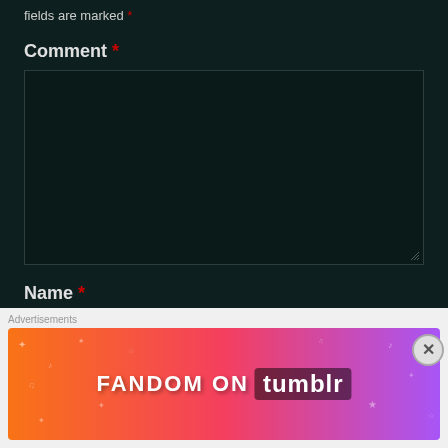fields are marked *
Comment *
[Figure (screenshot): Comment textarea input box, dark background, empty]
Name *
[Figure (screenshot): Name text input field, dark background, empty]
Advertisements
[Figure (illustration): Fandom on Tumblr advertisement banner with colorful gradient background]